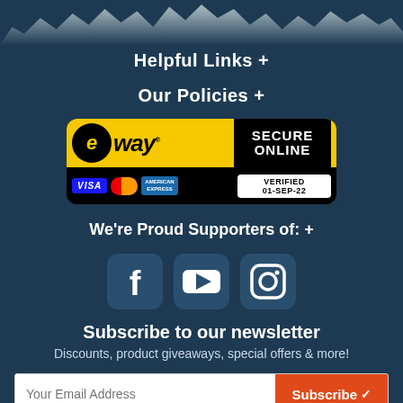[Figure (illustration): Mountain silhouette banner at top of page in blue-grey tones]
Helpful Links +
Our Policies +
[Figure (logo): eWAY Secure Online Verified 01-SEP-22 badge with Visa, MasterCard, American Express logos]
We're Proud Supporters of: +
[Figure (illustration): Social media icons: Facebook, YouTube, Instagram]
Subscribe to our newsletter
Discounts, product giveaways, special offers & more!
Your Email Address  Subscribe ✓